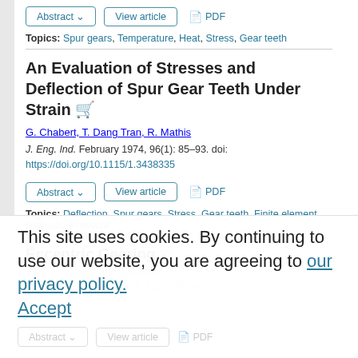Abstract ∨   View article   📄 PDF
Topics: Spur gears, Temperature, Heat, Stress, Gear teeth
An Evaluation of Stresses and Deflection of Spur Gear Teeth Under Strain 🛒
G. Chabert, T. Dang Tran, R. Mathis
J. Eng. Ind. February 1974, 96(1): 85–93. doi: https://doi.org/10.1115/1.3438335
Abstract ∨   View article   📄 PDF
Topics: Deflection, Spur gears, Stress, Gear teeth, Finite element methods, Pressure
Eccentric Gearing 🛒
Kenichi Mitome, Kisuke Ishida
This site uses cookies. By continuing to use our website, you are agreeing to our privacy policy. Accept